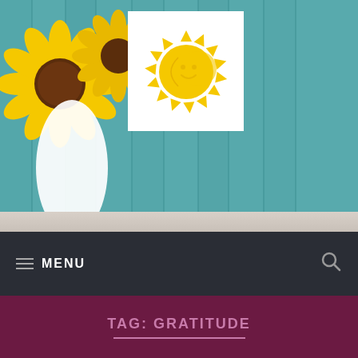[Figure (photo): Website header image showing sunflowers in a white vase against a teal/turquoise wooden plank background]
[Figure (logo): Grace of the Sun logo: a smiling sun face with rays, yellow on white background]
Grace of the Sun
MENU
TAG: GRATITUDE